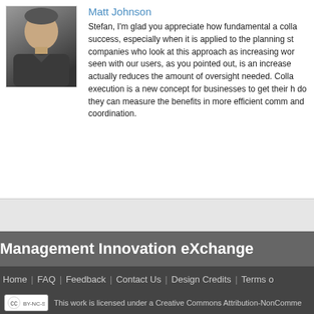Matt Johnson
[Figure (photo): Headshot photo of Matt Johnson, a middle-aged man]
Stefan, I'm glad you appreciate how fundamental a colla success, especially when it is applied to the planning st companies who look at this approach as increasing wor seen with our users, as you pointed out, is an increase actually reduces the amount of oversight needed. Colla execution is a new concept for businesses to get their h do they can measure the benefits in more efficient comm and coordination.
Management Innovation eXchange
Home | FAQ | Feedback | Contact Us | Design Credits | Terms o
This work is licensed under a Creative Commons Attribution-NonComme